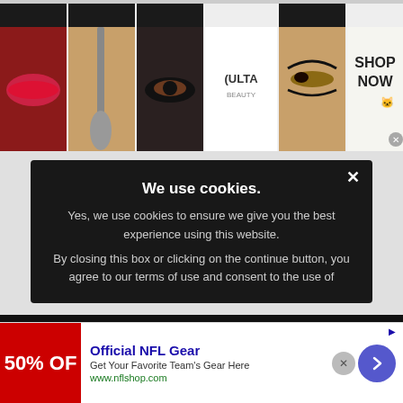[Figure (screenshot): Ulta Beauty banner advertisement showing makeup images (lips, brush, eye), Ulta Beauty logo, close-up eye makeup photo, and SHOP NOW call to action button]
Serving the Chicago gay, lesbian, bisexual and transgender communities. ©Copyright 2022 GoPride Networks. All rights reserved.
GoPride.com™ Know Chicago. Chicago Everyday™ Log...
[Figure (screenshot): Cookie consent modal overlay: 'We use cookies.' title, body text 'Yes, we use cookies to ensure we give you the best experience using this website. By closing this box or clicking on the continue button, you agree to our terms of use and consent to the use of' with X close button]
[Figure (screenshot): Bottom advertisement bar: Official NFL Gear - 50% OFF - Get Your Favorite Team's Gear Here - www.nflshop.com with close button and arrow button]